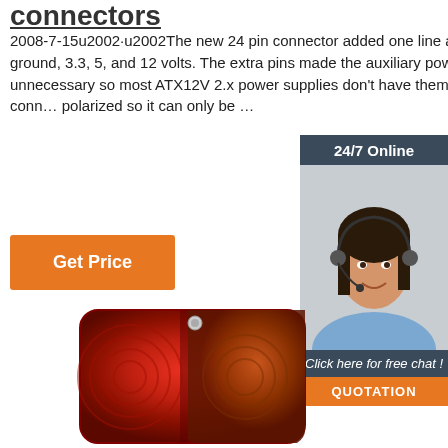connectors
2008-7-15u2002·u2002The new 24 pin connector added one line apiece for ground, 3.3, 5, and 12 volts. The extra pins made the auxiliary power cable unnecessary so most ATX12V 2.x power supplies don't have them. The 24 pin conn… polarized so it can only be …
Get Price
[Figure (photo): Customer service representative woman wearing headset with 24/7 Online chat widget overlay, and QUOTATION button]
[Figure (photo): Red rectangular tail light lens product photo]